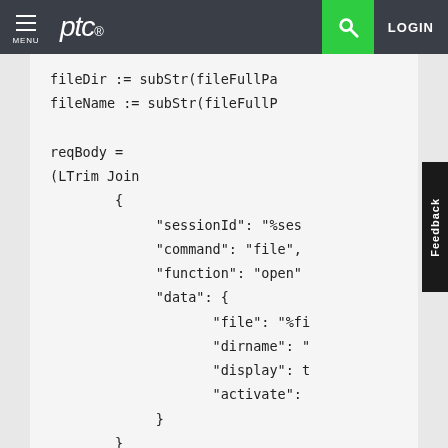PTC — MENU | LOGIN
fileDir := subStr(fileFullPa
fileName := subStr(fileFullP

reqBody =
(LTrim Join
        {
             "sessionId": "%ses
             "command": "file",
             "function": "open"
             "data": {
                    "file": "%fi
                    "dirname": "
                    "display": t
                    "activate":
             }
        }
     }